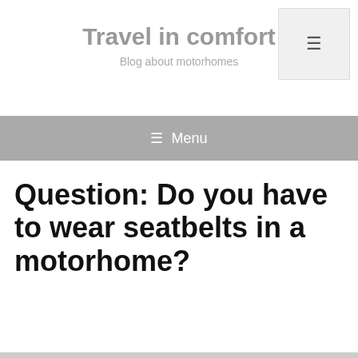Travel in comfort
Blog about motorhomes
☰ Menu
Question: Do you have to wear seatbelts in a motorhome?